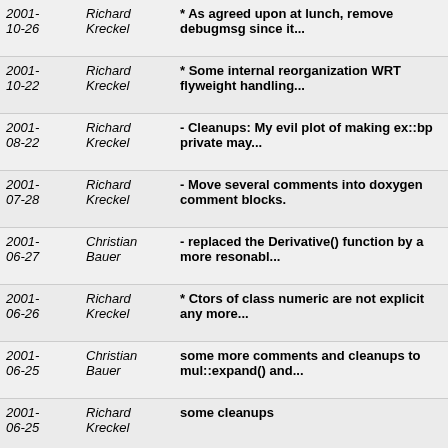| Date | Author | Message | Links |
| --- | --- | --- | --- |
| 2001-10-26 | Richard Kreckel | * As agreed upon at lunch, remove debugmsg since it... | bl co | ! to |
| 2001-10-22 | Richard Kreckel | * Some internal reorganization WRT flyweight handling... | bl co | ! to |
| 2001-08-22 | Richard Kreckel | - Cleanups: My evil plot of making ex::bp private may... | bl co | ! to |
| 2001-07-28 | Richard Kreckel | - Move several comments into doxygen comment blocks. | bl co | ! to |
| 2001-06-27 | Christian Bauer | - replaced the Derivative() function by a more resonabl... | bl co | ! to |
| 2001-06-26 | Richard Kreckel | * Ctors of class numeric are not explicit any more... | bl co | ! to |
| 2001-06-25 | Christian Bauer | some more comments and cleanups to mul::expand() and... | bl co | ! to |
| 2001-06-25 | Richard Kreckel | some cleanups | bl co | ! to |
| 2001-06-23 | Christian Bauer | - added find() (like has(), but returns list of all... | bl co | ! to |
| 2001-06-22 | Christian Bauer | some cleanups | bl co | ! to |
| 2001-06-?? | Christian Bauer | - The default implementations of evalf(), diff(), | bl co | ! to |